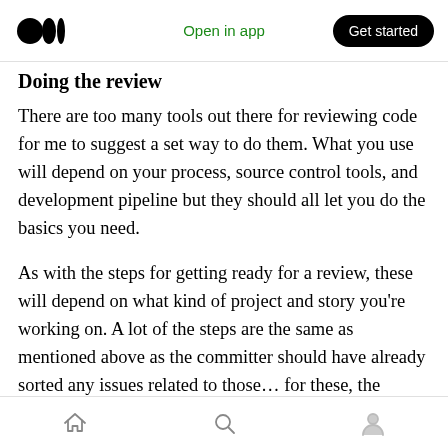Open in app | Get started
Doing the review
There are too many tools out there for reviewing code for me to suggest a set way to do them. What you use will depend on your process, source control tools, and development pipeline but they should all let you do the basics you need.
As with the steps for getting ready for a review, these will depend on what kind of project and story you're working on. A lot of the steps are the same as mentioned above as the committer should have already sorted any issues related to those… for these, the reviewer should just be
Home | Search | Profile